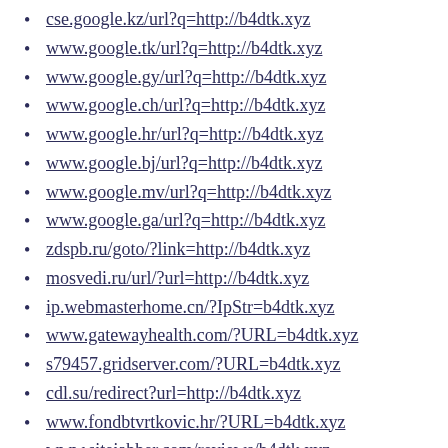cse.google.kz/url?q=http://b4dtk.xyz
www.google.tk/url?q=http://b4dtk.xyz
www.google.gy/url?q=http://b4dtk.xyz
www.google.ch/url?q=http://b4dtk.xyz
www.google.hr/url?q=http://b4dtk.xyz
www.google.bj/url?q=http://b4dtk.xyz
www.google.mv/url?q=http://b4dtk.xyz
www.google.ga/url?q=http://b4dtk.xyz
zdspb.ru/goto/?link=http://b4dtk.xyz
mosvedi.ru/url/?url=http://b4dtk.xyz
ip.webmasterhome.cn/?IpStr=b4dtk.xyz
www.gatewayhealth.com/?URL=b4dtk.xyz
s79457.gridserver.com/?URL=b4dtk.xyz
cdl.su/redirect?url=http://b4dtk.xyz
www.fondbtvrtkovic.hr/?URL=b4dtk.xyz
www.sitejabber.com/reviews/b4dtk.xyz
www.hrmpensionplan.ca/?URL=b4dtk.xyz
lostnationarchery.com/?URL=b4dtk.xyz
www.ocmw-info-cpas.be/?URL=b4dtk.xyz